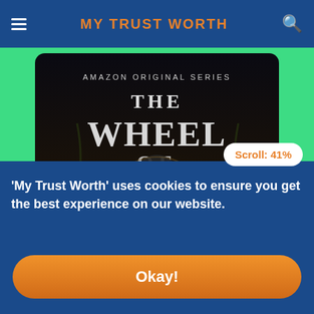MY TRUST WORTH
[Figure (screenshot): Screenshot of a website showing The Wheel of Time Amazon Original Series poster image with a dark fantasy aesthetic, featuring the show title in large metallic letters]
The Wheel of Time - ENGLISH
[Figure (photo): Partial view of faces/characters from a TV show]
Scroll: 41%
'My Trust Worth' uses cookies to ensure you get the best experience on our website.
Okay!